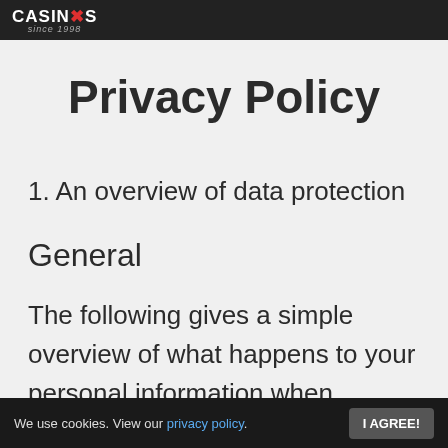CASINOS since 1998
Privacy Policy
1. An overview of data protection
General
The following gives a simple overview of what happens to your personal information when you
We use cookies. View our privacy policy.  I AGREE!